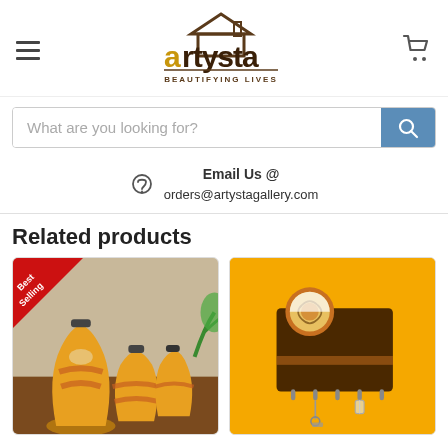[Figure (logo): Artysta logo with house icon and text 'BEAUTIFYING LIVES']
What are you looking for?
Email Us @ orders@artystagallery.com
Related products
[Figure (photo): Three yellow decorative ceramic vases with ethnic motifs on a wooden table. Red 'Best Selling' badge in top-left corner.]
[Figure (photo): Wooden wall-mounted key holder with decorative painted disc, against a yellow background.]